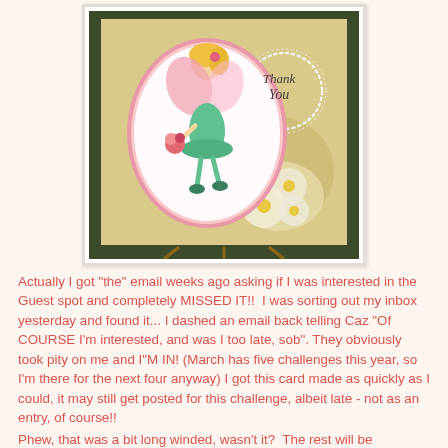[Figure (photo): A handmade greeting card featuring a fairy girl in a green dress with pink wings holding flowers, inside an oval pink frame. The card says 'Thank You' in script and has daisy flowers decorating the background. The card is displayed on a wooden easel outdoors.]
Actually I got "the" email weeks ago asking if I was interested in the Guest spot and completely MISSED IT!!  I was sorting out my inbox yesterday and found it... I dashed an email back telling Caz "Of COURSE I'm interested, and was I too late, sob". They obviously took pity on me and I"M IN! (March has five challenges this year, so I'm there for the next four anyway) I got this card made as quickly as I could, it may still get posted for this challenge, albeit late - not as an entry, of course!!
Phew, that was a bit long winded, wasn't it?  The rest will be